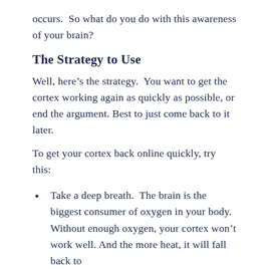occurs.  So what do you do with this awareness of your brain?
The Strategy to Use
Well, here’s the strategy.  You want to get the cortex working again as quickly as possible, or end the argument. Best to just come back to it later.
To get your cortex back online quickly, try this:
Take a deep breath.  The brain is the biggest consumer of oxygen in your body. Without enough oxygen, your cortex won’t work well. And the more heat, it will fall back to...